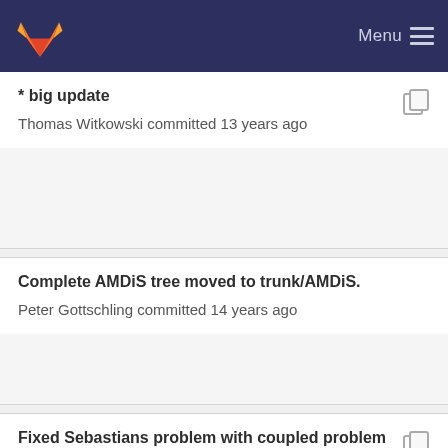GitLab Menu
* big update
Thomas Witkowski committed 13 years ago
Complete AMDiS tree moved to trunk/AMDiS.
Peter Gottschling committed 14 years ago
Fixed Sebastians problem with coupled problem …
Thomas Witkowski committed 13 years ago